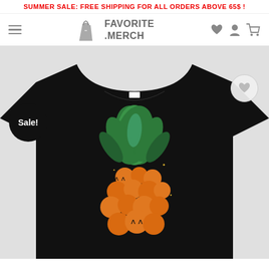SUMMER SALE: FREE SHIPPING FOR ALL ORDERS ABOVE 65$ !
[Figure (logo): Favorite Merch logo with shopping bag icon and site navigation icons including hamburger menu, heart, user, and cart]
[Figure (photo): Black t-shirt with Halloween pineapple design — pineapple leaves at top in green, body made of orange carved jack-o-lantern pumpkin faces. Sale badge (black circle) bottom-left. Heart wishlist button top-right.]